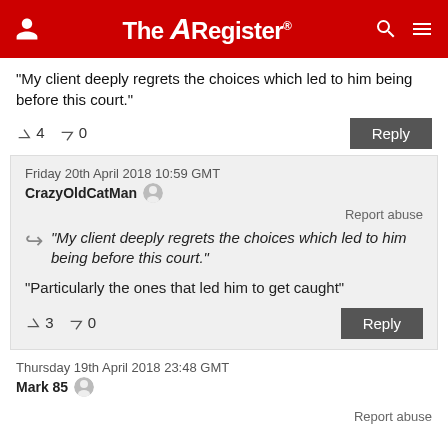The Register
"My client deeply regrets the choices which led to him being before this court."
↑4  ↓0   Reply
Friday 20th April 2018 10:59 GMT
CrazyOldCatMan
Report abuse
"My client deeply regrets the choices which led to him being before this court."
"Particularly the ones that led him to get caught"
↑3  ↓0   Reply
Thursday 19th April 2018 23:48 GMT
Mark 85
Report abuse